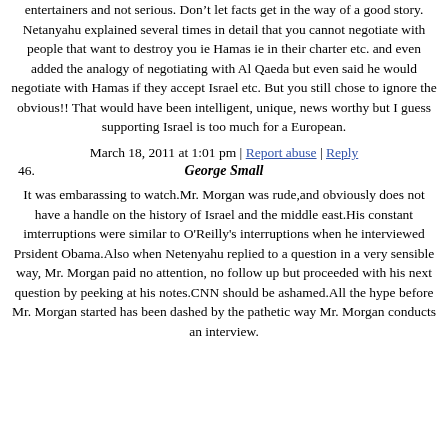entertainers and not serious. Don’t let facts get in the way of a good story.
Netanyahu explained several times in detail that you cannot negotiate with people that want to destroy you ie Hamas ie in their charter etc. and even added the analogy of negotiating with Al Qaeda but even said he would negotiate with Hamas if they accept Israel etc. But you still chose to ignore the obvious!! That would have been intelligent, unique, news worthy but I guess supporting Israel is too much for a European.
March 18, 2011 at 1:01 pm | Report abuse | Reply
46.   George Small
It was embarassing to watch.Mr. Morgan was rude,and obviously does not have a handle on the history of Israel and the middle east.His constant imterruptions were similar to O'Reilly's interruptions when he interviewed Prsident Obama.Also when Netenyahu replied to a question in a very sensible way, Mr. Morgan paid no attention, no follow up but proceeded with his next question by peeking at his notes.CNN should be ashamed.All the hype before Mr. Morgan started has been dashed by the pathetic way Mr. Morgan conducts an interview.